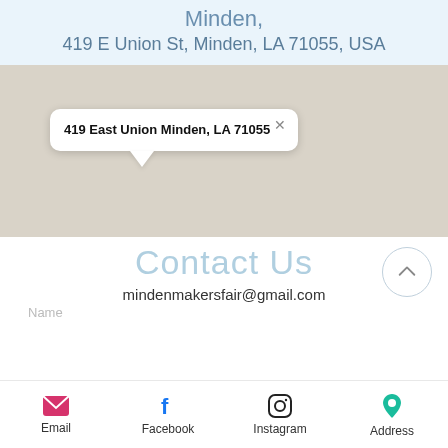Minden,
419 E Union St, Minden, LA 71055, USA
[Figure (map): Google Maps screenshot showing location at 419 East Union Minden, LA 71055 with a white popup balloon]
Contact Us
mindenmakersfair@gmail.com
Name
Email  Facebook  Instagram  Address